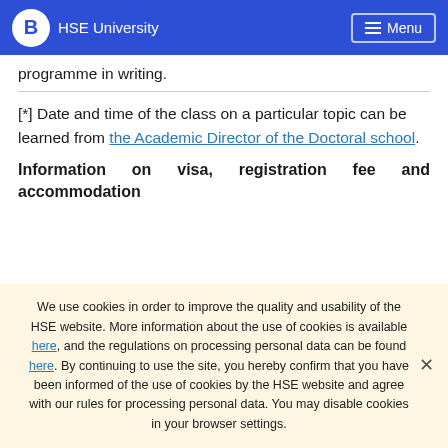HSE University  Menu
programme in writing.
[*] Date and time of the class on a particular topic can be learned from the Academic Director of the Doctoral school.
Information on visa, registration fee and accommodation
We use cookies in order to improve the quality and usability of the HSE website. More information about the use of cookies is available here, and the regulations on processing personal data can be found here. By continuing to use the site, you hereby confirm that you have been informed of the use of cookies by the HSE website and agree with our rules for processing personal data. You may disable cookies in your browser settings.